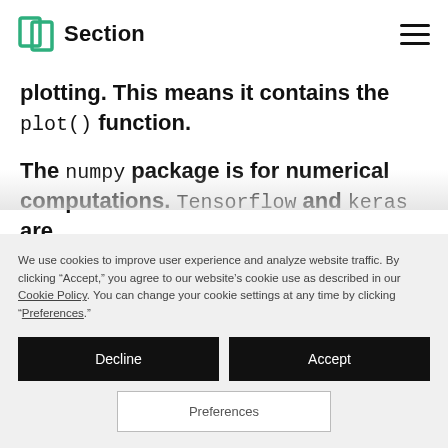Section
plotting. This means it contains the plot() function.
The numpy package is for numerical computations. Tensorflow and keras are
We use cookies to improve user experience and analyze website traffic. By clicking “Accept,” you agree to our website’s cookie use as described in our Cookie Policy. You can change your cookie settings at any time by clicking “Preferences.”
Decline
Accept
Preferences